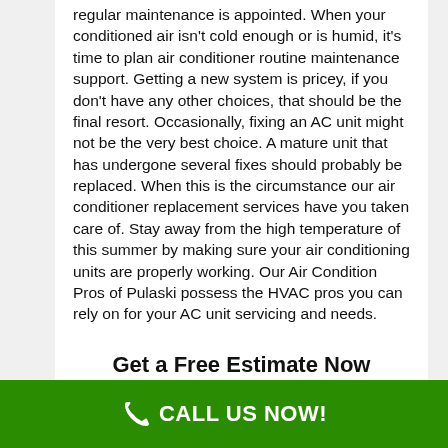regular maintenance is appointed. When your conditioned air isn't cold enough or is humid, it's time to plan air conditioner routine maintenance support. Getting a new system is pricey, if you don't have any other choices, that should be the final resort. Occasionally, fixing an AC unit might not be the very best choice. A mature unit that has undergone several fixes should probably be replaced. When this is the circumstance our air conditioner replacement services have you taken care of. Stay away from the high temperature of this summer by making sure your air conditioning units are properly working. Our Air Condition Pros of Pulaski possess the HVAC pros you can rely on for your AC unit servicing and needs.
Get a Free Estimate Now
Service needed:
CALL US NOW!